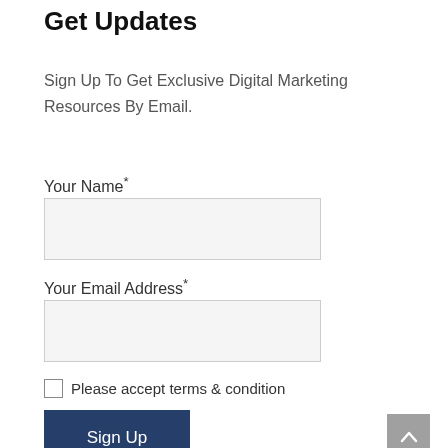Get Updates
Sign Up To Get Exclusive Digital Marketing Resources By Email.
Your Name*
Your Email Address*
Please accept terms & condition
Sign Up